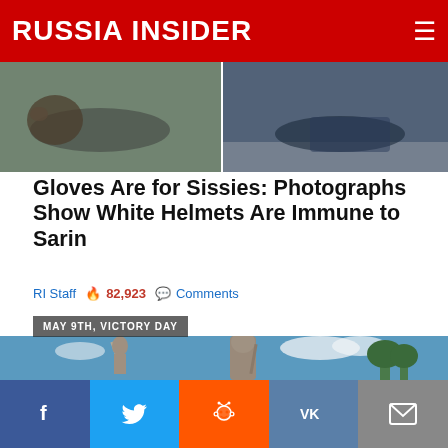RUSSIA INSIDER
[Figure (photo): Two photographs side-by-side showing people lying on the ground, related to a White Helmets story]
Gloves Are for Sissies: Photographs Show White Helmets Are Immune to Sarin
RI Staff 🔥 82,923 💬 Comments
MAY 9TH, VICTORY DAY
[Figure (photo): Photograph of large Soviet war memorial statues (The Motherland Calls and a soldier figure) at Mamayev Kurgan, Volgograd, against a blue sky with white clouds and trees]
[Figure (infographic): Social media sharing bar with Facebook, Twitter, Reddit, VK, and Email buttons]